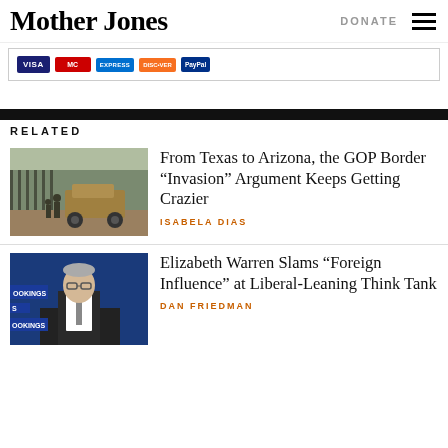Mother Jones
[Figure (screenshot): Payment method icons: VISA, Mastercard, American Express, Discover, PayPal in a bordered box]
[Figure (photo): Military Humvee vehicle next to a border wall with soldiers nearby]
From Texas to Arizona, the GOP Border “Invasion” Argument Keeps Getting Crazier
ISABELA DIAS
[Figure (photo): Man in suit speaking at a podium with Brookings Institution signage visible]
Elizabeth Warren Slams “Foreign Influence” at Liberal-Leaning Think Tank
DAN FRIEDMAN